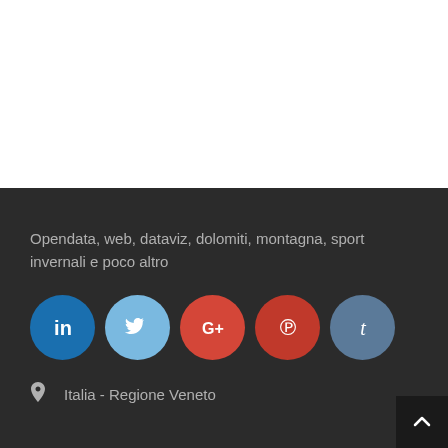[Figure (illustration): White blank area at top of page, likely where a photo or content block was]
Opendata, web, dataviz, dolomiti, montagna, sport invernali e poco altro
[Figure (infographic): Row of five social media icon circles: LinkedIn (blue), Twitter (light blue), Google+ (orange-red), Pinterest (red), Tumblr (steel blue)]
Italia - Regione Veneto